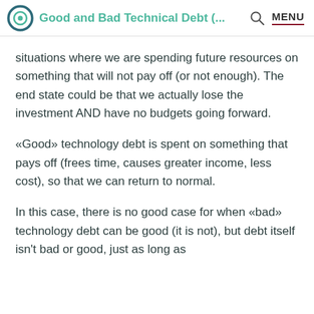Good and Bad Technical Debt (... MENU
situations where we are spending future resources on something that will not pay off (or not enough). The end state could be that we actually lose the investment AND have no budgets going forward.
«Good» technology debt is spent on something that pays off (frees time, causes greater income, less cost), so that we can return to normal.
In this case, there is no good case for when «bad» technology debt can be good (it is not), but debt itself isn't bad or good, just as long as